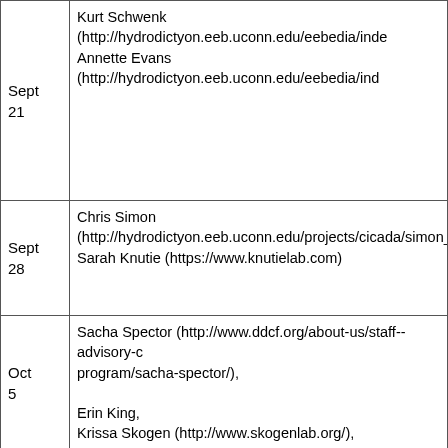| Date | Speakers |
| --- | --- |
| Sept 21 | Kurt Schwenk (http://hydrodictyon.eeb.uconn.edu/eebedia/inde...
Annette Evans (http://hydrodictyon.eeb.uconn.edu/eebedia/ind... |
| Sept 28 | Chris Simon
(http://hydrodictyon.eeb.uconn.edu/projects/cicada/simon_lab/...
Sarah Knutie (https://www.knutielab.com) |
| Oct 5 | Sacha Spector (http://www.ddcf.org/about-us/staff--advisory-co...
program/sacha-spector/),

Erin King,
Krissa Skogen (http://www.skogenlab.org/), |